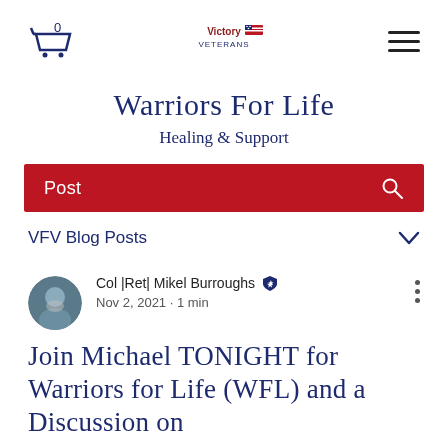[Figure (logo): Victory Veterans logo with American flag, centered in navigation bar]
Warriors For Life
Healing & Support
Post
VFV Blog Posts
Col |Ret| Mikel Burroughs
Nov 2, 2021 · 1 min
Join Michael TONIGHT for Warriors for Life (WFL) and a Discussion on